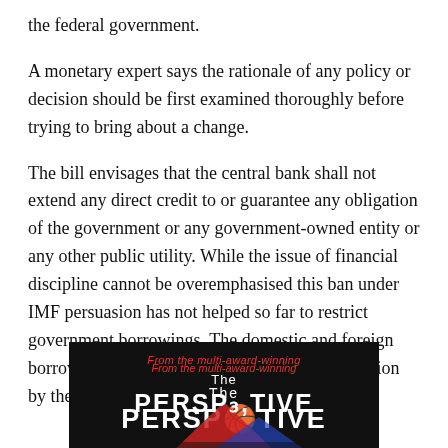the federal government.
A monetary expert says the rationale of any policy or decision should be first examined thoroughly before trying to bring about a change.
The bill envisages that the central bank shall not extend any direct credit to or guarantee any obligation of the government or any government-owned entity or any other public utility. While the issue of financial discipline cannot be overemphasised this ban under IMF persuasion has not helped so far to restrict government borrowings. The domestic and foreign borrowings had hit a historic high of Rs40.9 trillion by the end of November 2021.
[Figure (advertisement): Dark/black background advertisement banner reading 'From the multi-award-winning' in red italic text, then 'The' in white, then 'PERSPECTIVE' in white bold stylized text with a partial red and blue graphic element at the bottom.]